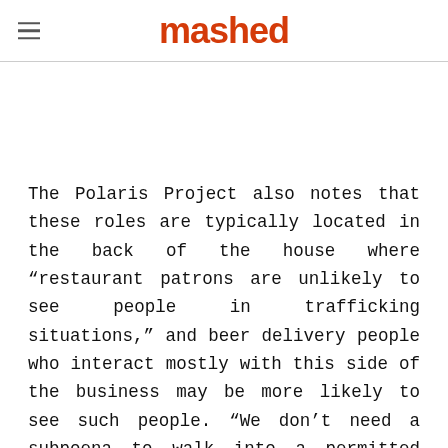mashed
The Polaris Project also notes that these roles are typically located in the back of the house where "restaurant patrons are unlikely to see people in trafficking situations," and beer delivery people who interact mostly with this side of the business may be more likely to see such people. "We don't need a subpoena to walk into a permitted location, ask to see the books, and inspect the facility," Bentley Nettles, executive director of the Texas Alcoholic